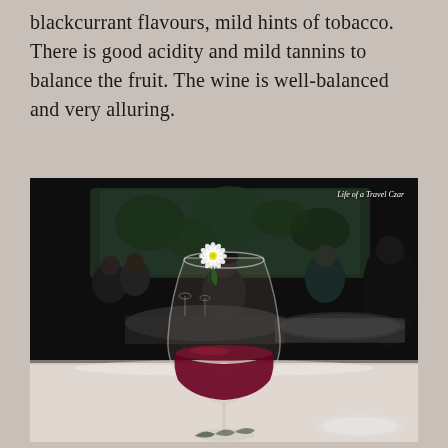blackcurrant flavours, mild hints of tobacco. There is good acidity and mild tannins to balance the fruit. The wine is well-balanced and very alluring.
[Figure (photo): A restaurant scene in dim lighting. In the foreground, a large wine glass containing red wine sits on a white table, with a white flower and green leaf garnish resting on the rim. In the background, diners are seated at tables in a dark, atmospheric restaurant setting. A watermark reads 'Life of a Travel Czar' in the upper right corner of the photo.]